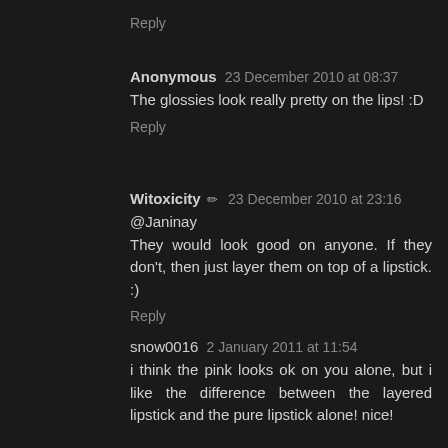Reply
Anonymous 23 December 2010 at 08:37
The glossies look really pretty on the lips! :D
Reply
Witoxicity ✏ 23 December 2010 at 23:16
@Janinay
They would look good on anyone. If they don't, then just layer them on top of a lipstick. :)
Reply
snow0016 2 January 2011 at 11:54
i think the pink looks ok on you alone, but i like the difference between the layered lipstick and the pure lipstick alone! nice!
Reply